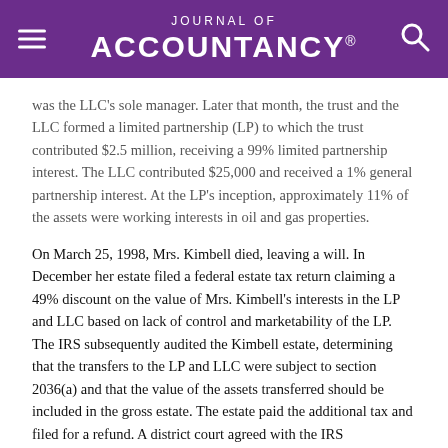Journal of Accountancy®
was the LLC's sole manager. Later that month, the trust and the LLC formed a limited partnership (LP) to which the trust contributed $2.5 million, receiving a 99% limited partnership interest. The LLC contributed $25,000 and received a 1% general partnership interest. At the LP's inception, approximately 11% of the assets were working interests in oil and gas properties.
On March 25, 1998, Mrs. Kimbell died, leaving a will. In December her estate filed a federal estate tax return claiming a 49% discount on the value of Mrs. Kimbell's interests in the LP and LLC based on lack of control and marketability of the LP. The IRS subsequently audited the Kimbell estate, determining that the transfers to the LP and LLC were subject to section 2036(a) and that the value of the assets transferred should be included in the gross estate. The estate paid the additional tax and filed for a refund. A district court agreed with the IRS determination and the estate appealed the decision to the Fifth Circuit Court of Appeals.